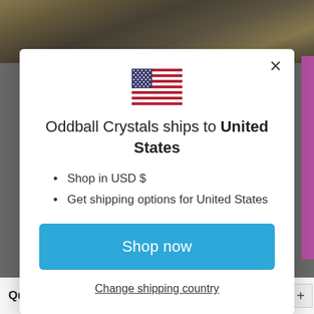[Figure (screenshot): US flag emoji SVG inline in modal dialog]
Oddball Crystals ships to United States
Shop in USD $
Get shipping options for United States
Shop now
Change shipping country
Quantity: